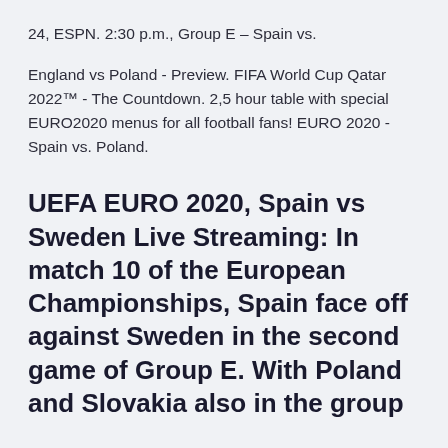24, ESPN. 2:30 p.m., Group E – Spain vs.
England vs Poland - Preview. FIFA World Cup Qatar 2022™ - The Countdown. 2,5 hour table with special EURO2020 menus for all football fans! EURO 2020 - Spain vs. Poland.
UEFA EURO 2020, Spain vs Sweden Live Streaming: In match 10 of the European Championships, Spain face off against Sweden in the second game of Group E. With Poland and Slovakia also in the group